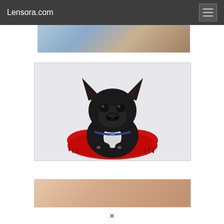Lensora.com
[Figure (photo): Partial top strip of an animal photo, showing blue-grey and brown tones]
[Figure (photo): Black French Bulldog puppy sitting on a red heart-shaped pillow, white background]
[Figure (photo): Partial bottom strip of a warm-toned photo, peach and tan gradient]